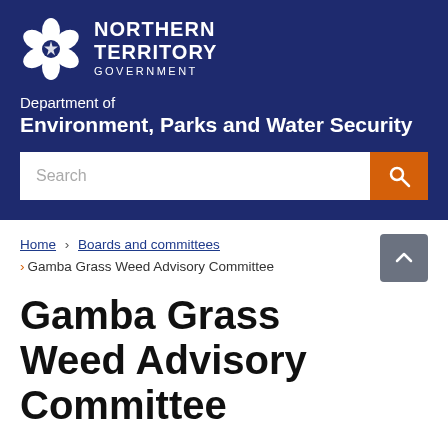[Figure (logo): Northern Territory Government logo with flower emblem and text NORTHERN TERRITORY GOVERNMENT]
Department of
Environment, Parks and Water Security
Search
Home > Boards and committees > Gamba Grass Weed Advisory Committee
Gamba Grass Weed Advisory Committee